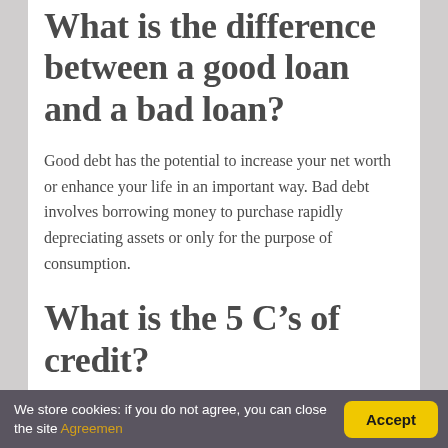What is the difference between a good loan and a bad loan?
Good debt has the potential to increase your net worth or enhance your life in an important way. Bad debt involves borrowing money to purchase rapidly depreciating assets or only for the purpose of consumption.
What is the 5 C’s of credit?
Understanding the “Five C’s of Credit”
We store cookies: if you do not agree, you can close the site Agreemen